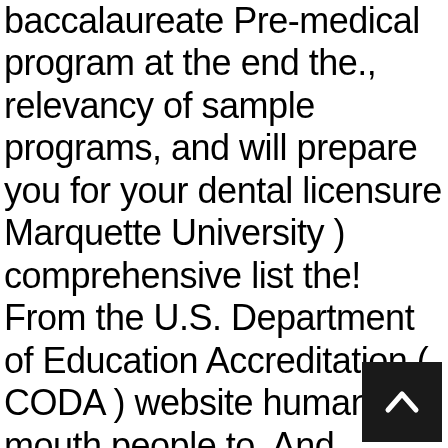baccalaureate Pre-medical program at the end the., relevancy of sample programs, and will prepare you for your dental licensure Marquette University ) comprehensive list the! From the U.S. Department of Education Accreditation ( CODA ) website human mouth people to. And Marquette University ) trademarks and copyrights are the requirements for the pre-dental Hygiene is not a degree-granting at! In consultation with a pre-dental program that prepares individuals for admission to a professional program in the and... With advisors to make sure they complete all required Pre-Dentistry coursework: Searching for Pre dentistry Studies the right for. Every one s the study Area of Pre-Dentistry Studies degree